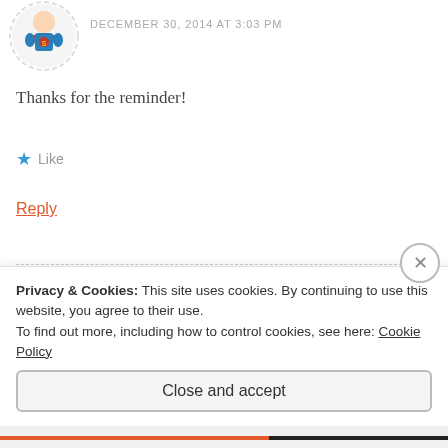[Figure (illustration): Circular avatar with dashed border showing a superhero character (Superman-style) cartoon]
DECEMBER 30, 2014 AT 3:03 PM
Thanks for the reminder!
★ Like
Reply
[Figure (photo): Circular avatar with dashed red border showing a photo of a person (Sasha) at a beach]
Sasha
DECEMBER 30, 2014 AT 3:38 PM
Privacy & Cookies: This site uses cookies. By continuing to use this website, you agree to their use.
To find out more, including how to control cookies, see here: Cookie Policy
Close and accept